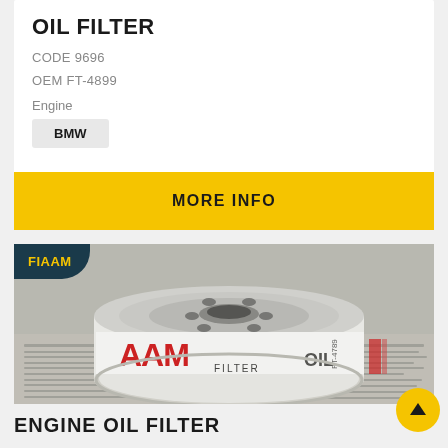OIL FILTER
CODE 9696
OEM FT-4899
Engine
BMW
MORE INFO
[Figure (photo): FIAAM branded oil filter (FT-4789) shown from above at an angle, white cylindrical canister with red AAM FILTER logo and OIL text visible on the side, placed on a surface with printed text/catalogue pages]
ENGINE OIL FILTER